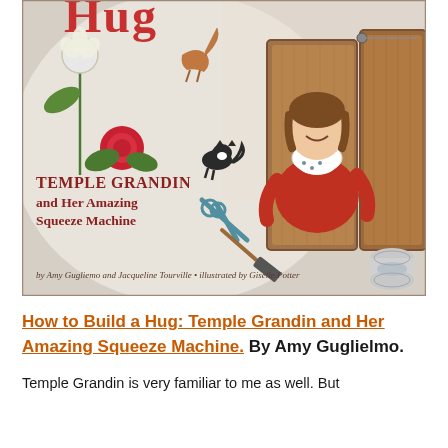[Figure (illustration): Book cover of 'How to Build a Hug: Temple Grandin and Her Amazing Squeeze Machine' illustrated by Giselle Potter. Shows a girl in a red dress inside a wooden squeeze machine, with a cat, dog, flower, rose, scissors, hammer, and spool of thread. Text reads 'TEMPLE GRANDIN and Her Amazing Squeeze Machine' by Amy Gugliemo and Jacqueline Tourville, illustrated by Giselle Potter.]
How to Build a Hug: Temple Grandin and Her Amazing Squeeze Machine. By Amy Guglielmo. Temple Grandin is very familiar to me as well. But